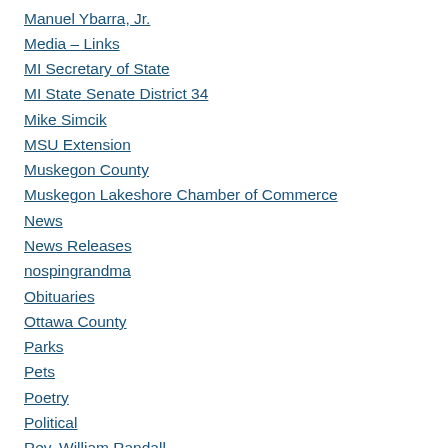Manuel Ybarra, Jr.
Media – Links
MI Secretary of State
MI State Senate District 34
Mike Simcik
MSU Extension
Muskegon County
Muskegon Lakeshore Chamber of Commerce
News
News Releases
nospingrandma
Obituaries
Ottawa County
Parks
Pets
Poetry
Political
Rev. William Randall
Right To Life